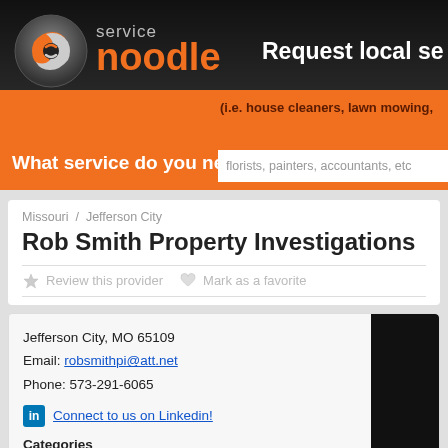[Figure (logo): Service Noodle logo with orange circular icon and text 'service noodle']
Request local se
What service do you need?
(i.e. house cleaners, lawn mowing, florists, painters, accountants, etc
Missouri / Jefferson City
Rob Smith Property Investigations
Review this provider   Mark as a favorite
Jefferson City, MO 65109
Email: robsmithpi@att.net
Phone: 573-291-6065
Connect to us on Linkedin!
Categories
Home Inspectors